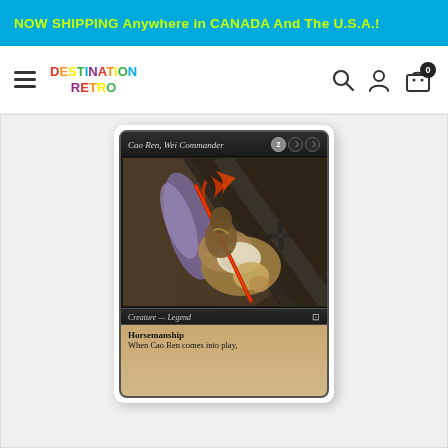NOW SHIPPING Anywhere in CANADA And The U.S.A.!
[Figure (logo): Destination Retro store logo with multicolored letters and hamburger menu, search, account, and cart icons]
[Figure (photo): Magic: The Gathering card - Cao Ren, Wei Commander. Dark-bordered card with fantasy warrior artwork. Card text reads 'Horsemanship' and 'When Cao Ren comes into play...']